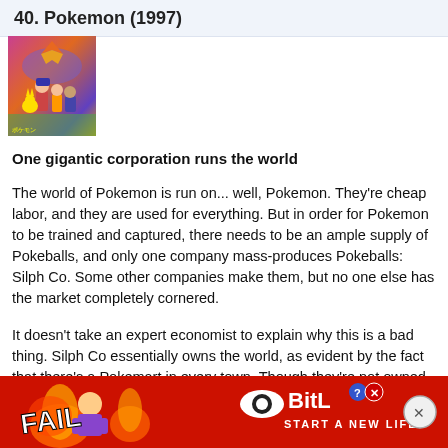40. Pokemon (1997)
[Figure (illustration): Pokemon anime artwork thumbnail showing characters including Ash and various Pokemon with colorful background]
One gigantic corporation runs the world
The world of Pokemon is run on... well, Pokemon. They're cheap labor, and they are used for everything. But in order for Pokemon to be trained and captured, there needs to be an ample supply of Pokeballs, and only one company mass-produces Pokeballs: Silph Co. Some other companies make them, but no one else has the market completely cornered.
It doesn't take an expert economist to explain why this is a bad thing. Silph Co essentially owns the world, as evident by the fact that there's a Pokemart in every town. Though they're not owned by the same people, Silph... shock... ess in
[Figure (advertisement): BitLife advertisement with red background, FAIL text, cartoon girl, fire imagery, and START A NEW LIFE tagline]